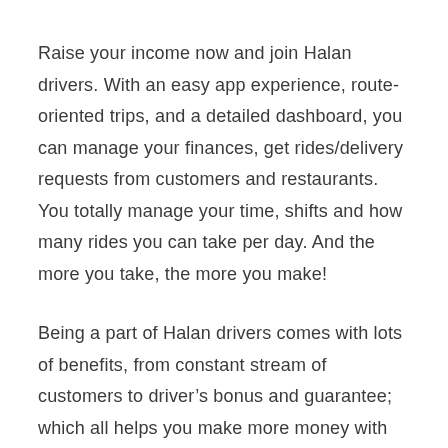Raise your income now and join Halan drivers. With an easy app experience, route-oriented trips, and a detailed dashboard, you can manage your finances, get rides/delivery requests from customers and restaurants. You totally manage your time, shifts and how many rides you can take per day. And the more you take, the more you make!
Being a part of Halan drivers comes with lots of benefits, from constant stream of customers to driver's bonus and guarantee; which all helps you make more money with your vehicle.